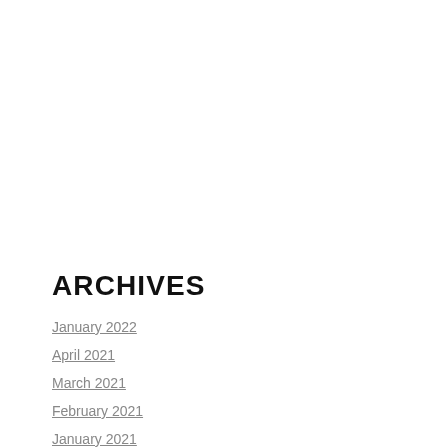ARCHIVES
January 2022
April 2021
March 2021
February 2021
January 2021
October 2020